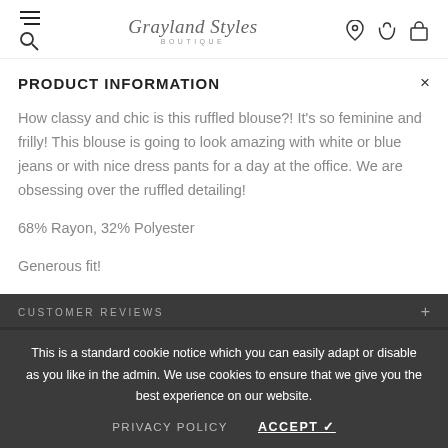Grayland Styles Boutique
PRODUCT INFORMATION
How classy and chic is this ruffled blouse?! It's so feminine and frilly! This blouse is going to look amazing with white or blue jeans or with nice dress pants for a day at the office. We are obsessing over the ruffled detailing!
68% Rayon, 32% Polyester
Generous fit!
CUSTOMER REVIEWS
This is a standard cookie notice which you can easily adapt or disable as you like in the admin. We use cookies to ensure that we give you the best experience on our website.
PRIVACY POLICY    ACCEPT ✓